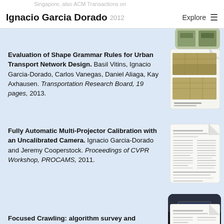Ignacio Garcia Dorado — Explore
Singapore, also ACM Transactions on
Evaluation of Shape Grammar Rules for Urban Transport Network Design. Basil Vitins, Ignacio Garcia-Dorado, Carlos Vanegas, Daniel Aliaga, Kay Axhausen. Transportation Research Board, 19 pages, 2013.
[Figure (photo): Thumbnail image of a paper with aerial view of urban transport network]
Fully Automatic Multi-Projector Calibration with an Uncalibrated Camera. Ignacio Garcia-Dorado and Jeremy Cooperstock. Proceedings of CVPR Workshop, PROCAMS, 2011.
[Figure (photo): Thumbnail image of a paper document (CVPR Workshop paper)]
[Figure (photo): YouTube video thumbnail showing projector calibration demo]
Focused Crawling: algorithm survey and